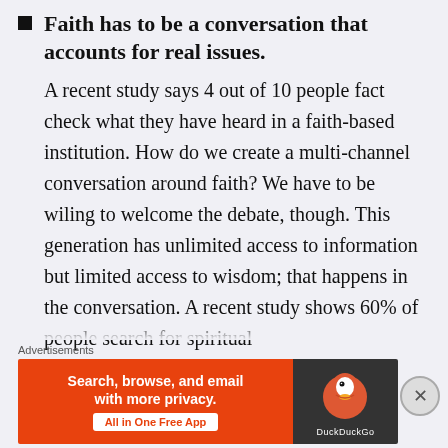Faith has to be a conversation that accounts for real issues. A recent study says 4 out of 10 people fact check what they have heard in a faith-based institution. How do we create a multi-channel conversation around faith? We have to be wiling to welcome the debate, though. This generation has unlimited access to information but limited access to wisdom; that happens in the conversation. A recent study shows 60% of people search for spiritual
Advertisements
[Figure (infographic): DuckDuckGo advertisement banner: orange left section with text 'Search, browse, and email with more privacy. All in One Free App' and a white button, dark right section with DuckDuckGo duck logo.]